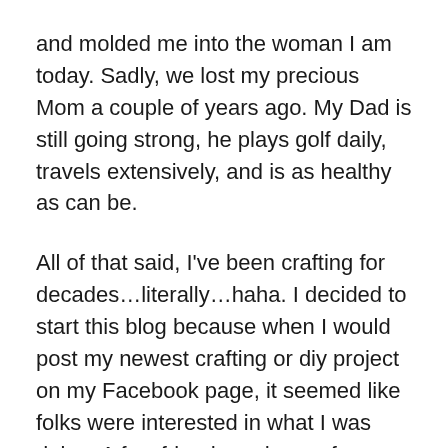and molded me into the woman I am today. Sadly, we lost my precious Mom a couple of years ago. My Dad is still going strong, he plays golf daily, travels extensively, and is as healthy as can be.
All of that said, I've been crafting for decades…literally…haha. I decided to start this blog because when I would post my newest crafting or diy project on my Facebook page, it seemed like folks were interested in what I was doing. A few friends and one of my daughters have encouraged me to try and start a blog because they feel that I have a lot to offer; I hope that they are right and that there is someone who